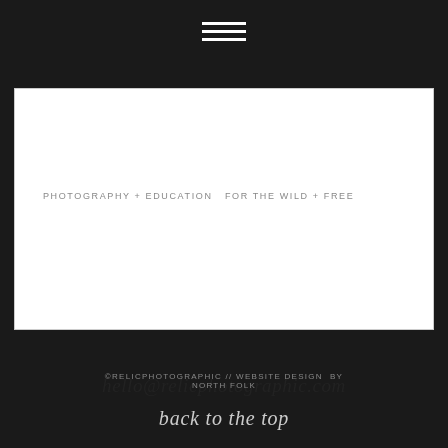[Figure (illustration): Hamburger/menu icon with three horizontal white lines on dark background]
PHOTOGRAPHY + EDUCATION FOR THE WILD + FREE
hello@relicphotographic.com
©RELICPHOTOGRAPHIC // WEBSITE DESIGN BY NORTH FOLK
back to the top